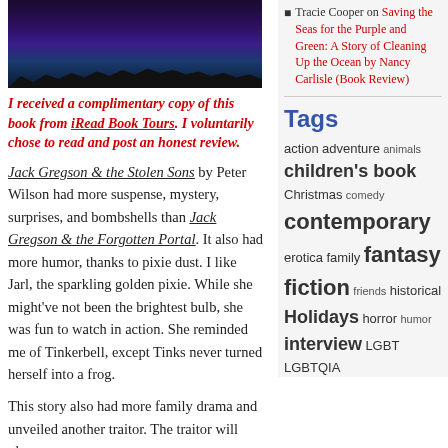[Figure (photo): Dark blue/purple night sky with grass silhouettes at the bottom, book cover image]
I received a complimentary copy of this book from iRead Book Tours. I voluntarily chose to read and post an honest review.
Tracie Cooper on Saving the Seas for the Purple and Green: A Story of Cleaning Up the Ocean by Nancy Carlisle (Book Review)
Tags
action adventure animals children's book Christmas comedy contemporary erotica family fantasy fiction friends historical Holidays horror humor interview LGBT LGBTQIA
Jack Gregson & the Stolen Sons by Peter Wilson had more suspense, mystery, surprises, and bombshells than Jack Gregson & the Forgotten Portal. It also had more humor, thanks to pixie dust. I like Jarl, the sparkling golden pixie. While she might've not been the brightest bulb, she was fun to watch in action. She reminded me of Tinkerbell, except Tinks never turned herself into a frog.
This story also had more family drama and unveiled another traitor. The traitor will play a